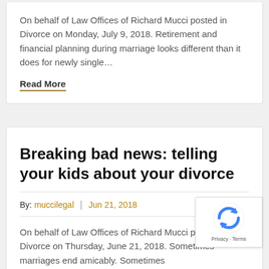On behalf of Law Offices of Richard Mucci posted in Divorce on Monday, July 9, 2018. Retirement and financial planning during marriage looks different than it does for newly single…
Read More
Breaking bad news: telling your kids about your divorce
By: muccilegal | Jun 21, 2018
On behalf of Law Offices of Richard Mucci posted in Divorce on Thursday, June 21, 2018. Sometimes marriages end amicably. Sometimes